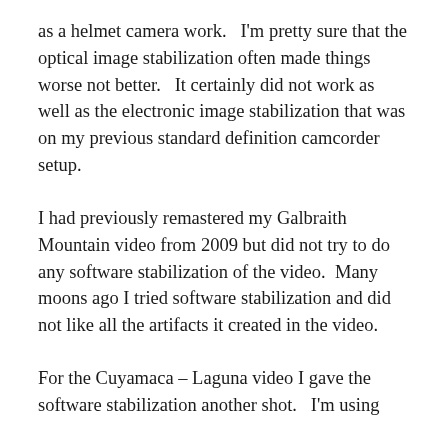as a helmet camera work.   I'm pretty sure that the optical image stabilization often made things worse not better.   It certainly did not work as well as the electronic image stabilization that was on my previous standard definition camcorder setup.
I had previously remastered my Galbraith Mountain video from 2009 but did not try to do any software stabilization of the video.  Many moons ago I tried software stabilization and did not like all the artifacts it created in the video.
For the Cuyamaca – Laguna video I gave the software stabilization another shot.   I'm using